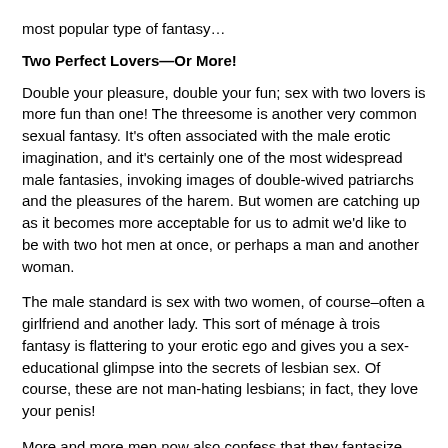most popular type of fantasy…
Two Perfect Lovers—Or More!
Double your pleasure, double your fun; sex with two lovers is more fun than one!  The threesome is another very common sexual fantasy.  It's often associated with the male erotic imagination, and it's certainly one of the most widespread male fantasies, invoking images of double-wived patriarchs and the pleasures of the harem.  But women are catching up as it becomes more acceptable for us to admit we'd like to be with two hot men at once, or perhaps a man and another woman.
The male standard is sex with two women, of course–often a girlfriend and another lady.  This sort of ménage à trois fantasy is flattering to your erotic ego and gives you a sex-educational glimpse into the secrets of lesbian sex.  Of course, these are not man-hating lesbians; in fact, they love your penis!
More and more men now also confess that they fantasize about having a threesome with two men and one woman.  The level of